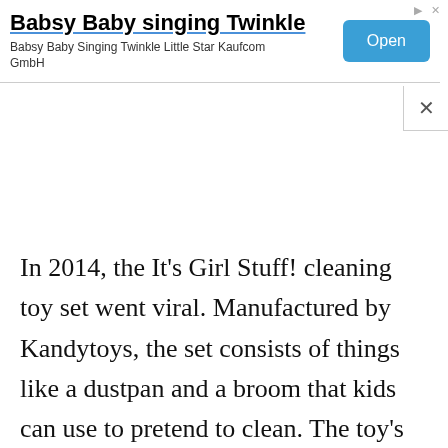[Figure (screenshot): Advertisement banner for 'Babsy Baby singing Twinkle' app by Kaufcom GmbH, with an Open button and small navigation icons in top right.]
In 2014, the It's Girl Stuff! cleaning toy set went viral. Manufactured by Kandytoys, the set consists of things like a dustpan and a broom that kids can use to pretend to clean. The toy's purple and pink packaging is covered in flowers